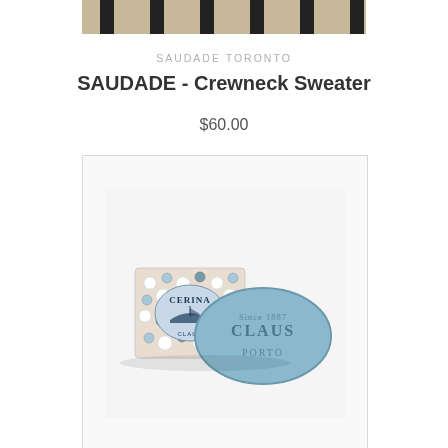[Figure (photo): Top portion of a striped knit sweater fabric with dark vertical stripes on a beige/cream background]
SAUDADE TORONTO
SAUDADE - Crewneck Sweater
$60.00
[Figure (photo): Claus Porto soap product photo showing a decorative mosaic-patterned box labeled CERINA with a blue oval bar of soap embossed with 'Since 1887 CLAUS PORTO']